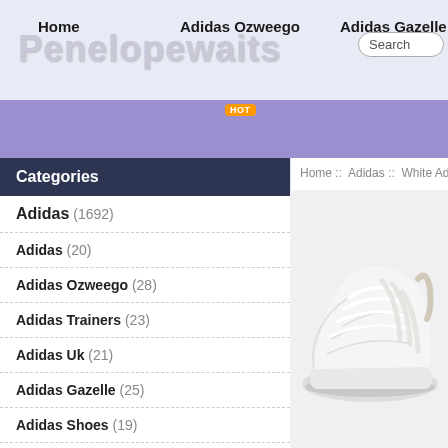Penelopewaits
Home  Adidas Ozweego  Adidas Gazelle
Categories
Home :: Adidas :: White Adidas Trainers ::
Adidas (1692)
Adidas (20)
Adidas Ozweego (28)
Adidas Trainers (23)
Adidas Uk (21)
Adidas Gazelle (25)
Adidas Shoes (19)
Adidas Superstar (27)
Adidas Yeezy (22)
[Figure (photo): White Adidas sneaker/trainer shoe on light grey background]